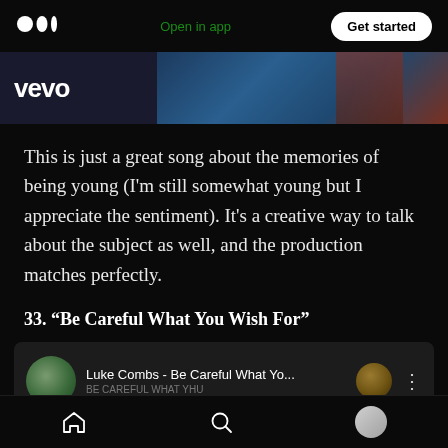Medium logo | Open in app | Get started
[Figure (screenshot): Vevo banner image with dark blue and purple tones showing a concert stage background with Vevo logo in white on the left]
This is just a great song about the memories of being young (I'm still somewhat young but I appreciate the sentiment). It's a creative way to talk about the subject as well, and the production matches perfectly.
33. “Be Careful What You Wish For”
[Figure (screenshot): Music player card showing Luke Combs - Be Careful What Yo... with artist thumbnail photo and three-dot menu icon]
Home | Search | Profile navigation icons